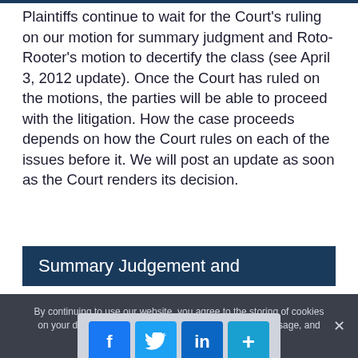Plaintiffs continue to wait for the Court's ruling on our motion for summary judgment and Roto-Rooter's motion to decertify the class (see April 3, 2012 update). Once the Court has ruled on the motions, the parties will be able to proceed with the litigation. How the case proceeds depends on how the Court rules on each of the issues before it. We will post an update as soon as the Court renders its decision.
Summary Judgement and
By continuing to use our website, you agree to the storing of cookies on your device to enhance site navigation, analyze site usage, and assist in our marketing efforts.